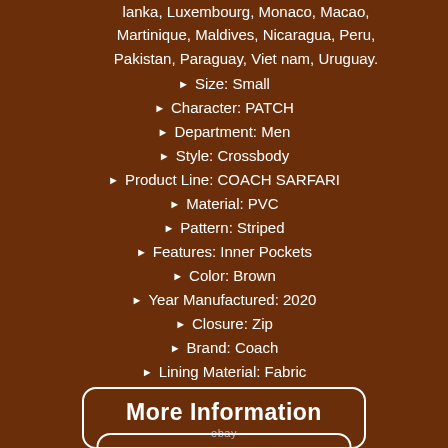lanka, Luxembourg, Monaco, Macao, Martinique, Maldives, Nicaragua, Peru, Pakistan, Paraguay, Viet nam, Uruguay.
Size: Small
Character: PATCH
Department: Men
Style: Crossbody
Product Line: COACH SARFARI
Material: PVC
Pattern: Striped
Features: Inner Pockets
Color: Brown
Year Manufactured: 2020
Closure: Zip
Brand: Coach
Lining Material: Fabric
[Figure (other): More Information ebay button]
[Figure (other): View Price ebay button]